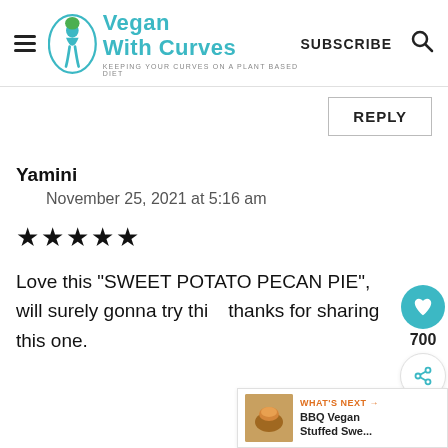Vegan With Curves — KEEPING YOUR CURVES ON A PLANT BASED DIET | SUBSCRIBE
REPLY
Yamini
November 25, 2021 at 5:16 am
★★★★★
Love this "SWEET POTATO PECAN PIE", will surely gonna try thi thanks for sharing this one.
700
WHAT'S NEXT → BBQ Vegan Stuffed Swe...